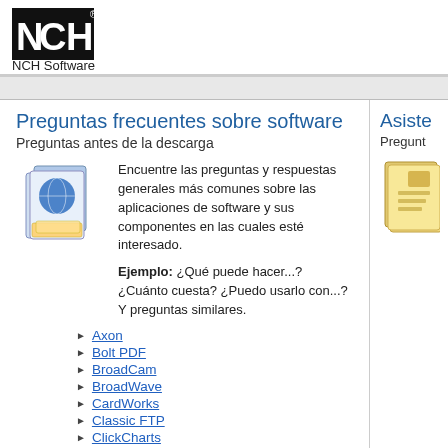[Figure (logo): NCH Software logo — black square with white letters NCH and registered trademark symbol, with 'NCH Software' text below]
Preguntas frecuentes sobre software
Preguntas antes de la descarga
[Figure (illustration): Software product box illustration with globe and documents]
Encuentre las preguntas y respuestas generales más comunes sobre las aplicaciones de software y sus componentes en las cuales esté interesado.
Ejemplo: ¿Qué puede hacer...? ¿Cuánto cuesta? ¿Puedo usarlo con...? Y preguntas similares.
Axon
Bolt PDF
BroadCam
BroadWave
CardWorks
Classic FTP
ClickCharts
Copper
Crescendo
Debut
DialDictate
Disketch
Asiste
Pregunt